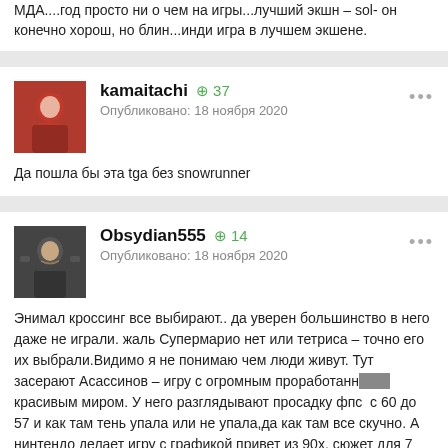МДА....год просто ни о чем на игры...лучший экшн – sol- он конечно хорош, но блин...инди игра в лучшем экшене.
kamaitachi +37 Опубликовано: 18 ноября 2020
Да пошла бы эта tga без snowrunner
Obsydian555 +14 Опубликовано: 18 ноября 2020
Энимал кроссинг все выбирают.. да уверен большинство в него даже не играли. жаль Супермарио нет или тетриса – точно его их выбрали.Видимо я не понимаю чем люди живут. Тут засерают Асассинов – игру с огромным проработанным и красивым миром. У него разглядывают просадку фпс  с 60 до 57 и как там тень упала или не упала,да как там все скучно. А нинтендо делает игру с графикой привет из 90х, сюжет для 7 летних детей и с ужоке без трассировки лучей и все. Игра